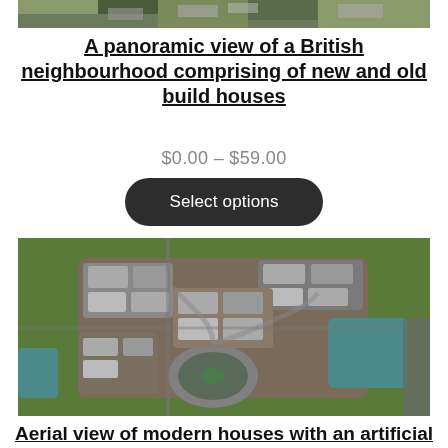[Figure (photo): Partial aerial/panoramic view of a British neighbourhood with new and old build houses (top of image cropped)]
A panoramic view of a British neighbourhood comprising of new and old build houses
$0.00 – $59.00
Select options
[Figure (photo): Aerial view of modern houses with an artificial pond in the middle in Greenhithe, showing a circular roundabout, clustered residential buildings with grey roofs, green lawns, and a turquoise pond]
Aerial view of modern houses with an artificial pond in the middle in Greenhithe,